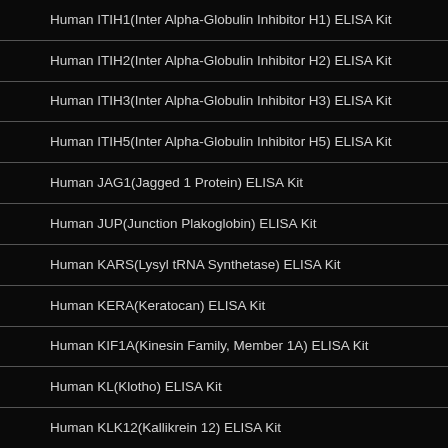Human ITIH1(Inter Alpha-Globulin Inhibitor H1) ELISA Kit
Human ITIH2(Inter Alpha-Globulin Inhibitor H2) ELISA Kit
Human ITIH3(Inter Alpha-Globulin Inhibitor H3) ELISA Kit
Human ITIH5(Inter Alpha-Globulin Inhibitor H5) ELISA Kit
Human JAG1(Jagged 1 Protein) ELISA Kit
Human JUP(Junction Plakoglobin) ELISA Kit
Human KARS(Lysyl tRNA Synthetase) ELISA Kit
Human KERA(Keratocan) ELISA Kit
Human KIF1A(Kinesin Family, Member 1A) ELISA Kit
Human KL(Klotho) ELISA Kit
Human KLK12(Kallikrein 12) ELISA Kit